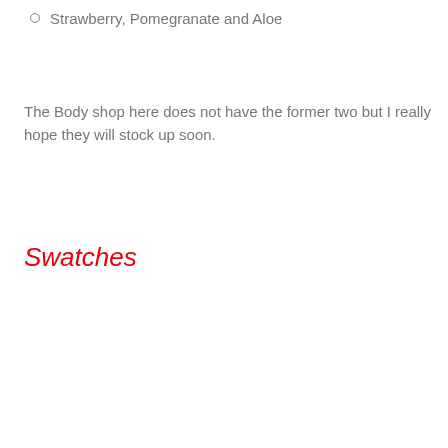Strawberry, Pomegranate and Aloe
The Body shop here does not have the former two but I really hope they will stock up soon.
Swatches